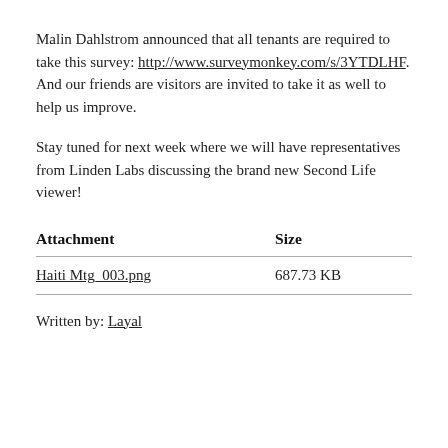Malin Dahlstrom announced that all tenants are required to take this survey: http://www.surveymonkey.com/s/3YTDLHF. And our friends are visitors are invited to take it as well to help us improve.
Stay tuned for next week where we will have representatives from Linden Labs discussing the brand new Second Life viewer!
| Attachment | Size |
| --- | --- |
| Haiti Mtg_003.png | 687.73 KB |
Written by: Layal